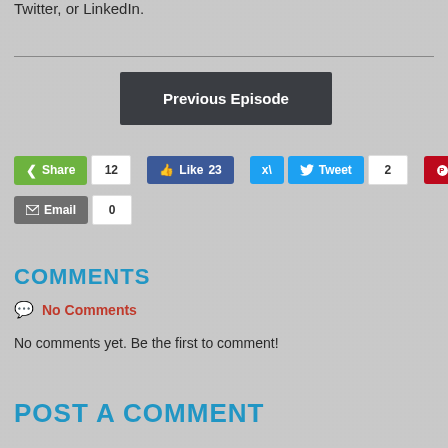Twitter, or LinkedIn.
[Figure (screenshot): Previous Episode navigation button (dark gray)]
[Figure (screenshot): Social sharing buttons: Share 12, Like 23, Tweet 2, Pin 0, Email 0]
COMMENTS
💬 No Comments
No comments yet. Be the first to comment!
POST A COMMENT